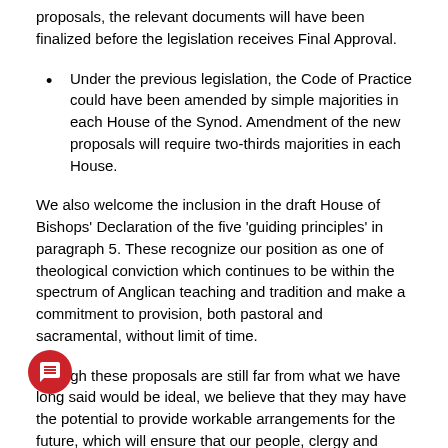proposals, the relevant documents will have been finalized before the legislation receives Final Approval.
Under the previous legislation, the Code of Practice could have been amended by simple majorities in each House of the Synod. Amendment of the new proposals will require two-thirds majorities in each House.
We also welcome the inclusion in the draft House of Bishops' Declaration of the five 'guiding principles' in paragraph 5. These recognize our position as one of theological conviction which continues to be within the spectrum of Anglican teaching and tradition and make a commitment to provision, both pastoral and sacramental, without limit of time.
Though these proposals are still far from what we have long said would be ideal, we believe that they may have the potential to provide workable arrangements for the future, which will ensure that our people, clergy and parishes have continued access to a ministry that will enable us to flourish within the structures of the Church of England and make our full contribution to its life and mission. They hold out the possibility of bringing to a conclusion a